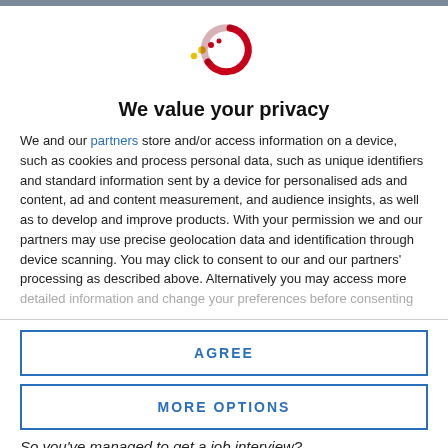[Figure (logo): Speedometer/rocket logo with red and yellow dots and a circular arc in red and dark red]
We value your privacy
We and our partners store and/or access information on a device, such as cookies and process personal data, such as unique identifiers and standard information sent by a device for personalised ads and content, ad and content measurement, and audience insights, as well as to develop and improve products. With your permission we and our partners may use precise geolocation data and identification through device scanning. You may click to consent to our and our partners' processing as described above. Alternatively you may access more detailed information and change your preferences before consenting
AGREE
MORE OPTIONS
So you've managed to get a job interview?